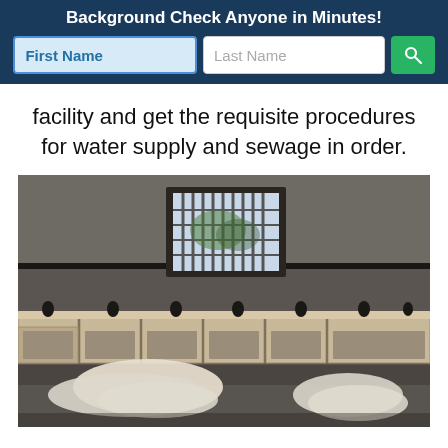Background Check Anyone in Minutes!
facility and get the requisite procedures for water supply and sewage in order.
[Figure (photo): Interior of an old prison or detention facility laundry room, with barred windows letting in light, white fabric/sheets piled on a table in the foreground, and old wooden lockers or cabinets along the back wall.]